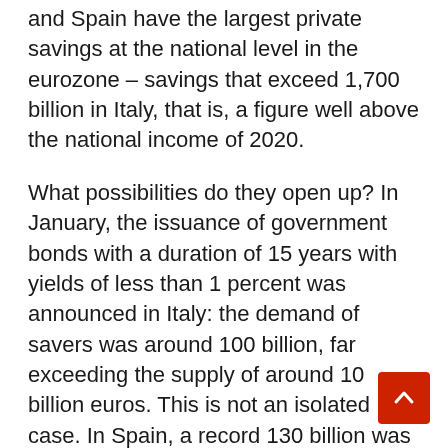and Spain have the largest private savings at the national level in the eurozone – savings that exceed 1,700 billion in Italy, that is, a figure well above the national income of 2020.
What possibilities do they open up? In January, the issuance of government bonds with a duration of 15 years with yields of less than 1 percent was announced in Italy: the demand of savers was around 100 billion, far exceeding the supply of around 10 billion euros. This is not an isolated case. In Spain, a record 130 billion was offered for a 10-year debt issue.
Considering the low-interest rate offered by governments, there couldn't be more favourable circumstances to tap into these